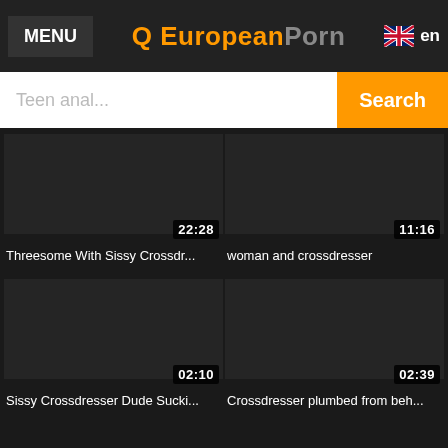MENU | Q EuropeanPorn | en
Teen anal... Search
[Figure (screenshot): Video thumbnail dark placeholder, duration 22:28, title: Threesome With Sissy Crossdr...]
Threesome With Sissy Crossdr...
[Figure (screenshot): Video thumbnail dark placeholder, duration 11:16, title: woman and crossdresser]
woman and crossdresser
[Figure (screenshot): Video thumbnail dark placeholder, duration 02:10, title: Sissy Crossdresser Dude Sucki...]
Sissy Crossdresser Dude Sucki...
[Figure (screenshot): Video thumbnail dark placeholder, duration 02:39, title: Crossdresser plumbed from beh...]
Crossdresser plumbed from beh...